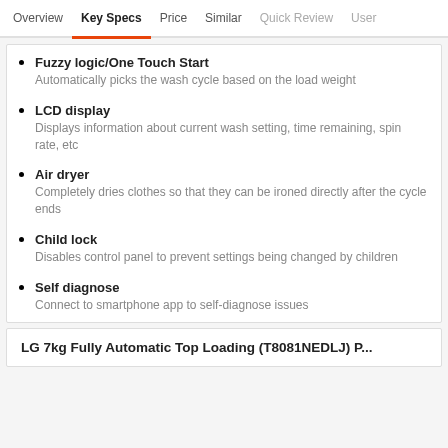Overview  Key Specs  Price  Similar  Quick Review  User
Fuzzy logic/One Touch Start
Automatically picks the wash cycle based on the load weight
LCD display
Displays information about current wash setting, time remaining, spin rate, etc
Air dryer
Completely dries clothes so that they can be ironed directly after the cycle ends
Child lock
Disables control panel to prevent settings being changed by children
Self diagnose
Connect to smartphone app to self-diagnose issues
LG 7kg Fully Automatic Top Loading (T8081NEDLJ) P...